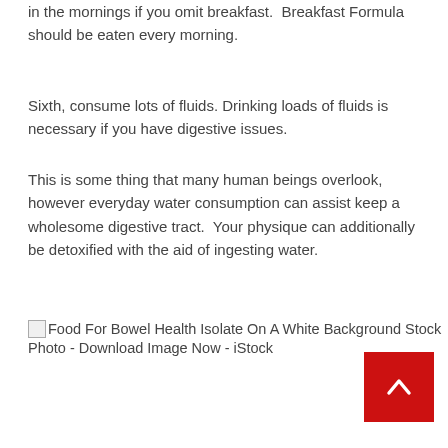in the mornings if you omit breakfast.  Breakfast Formula should be eaten every morning.
Sixth, consume lots of fluids. Drinking loads of fluids is necessary if you have digestive issues.
This is some thing that many human beings overlook, however everyday water consumption can assist keep a wholesome digestive tract.  Your physique can additionally be detoxified with the aid of ingesting water.
[Figure (photo): Broken image placeholder with alt text: Food For Bowel Health Isolate On A White Background Stock Photo - Download Image Now - iStock]
[Figure (other): Red scroll-to-top button with upward chevron arrow]